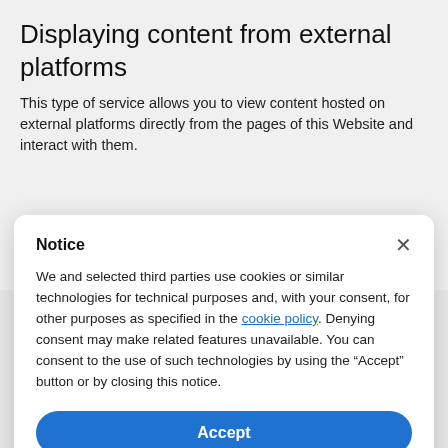Displaying content from external platforms
This type of service allows you to view content hosted on external platforms directly from the pages of this Website and interact with them.
Notice
We and selected third parties use cookies or similar technologies for technical purposes and, with your consent, for other purposes as specified in the cookie policy. Denying consent may make related features unavailable. You can consent to the use of such technologies by using the “Accept” button or by closing this notice.